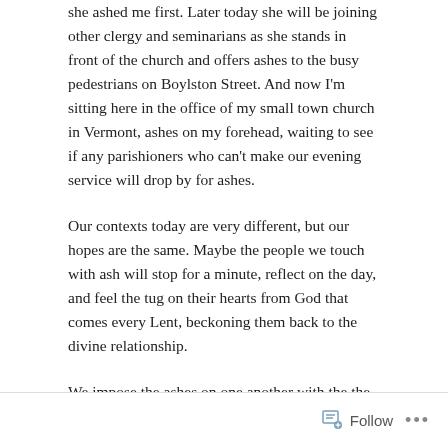she ashed me first. Later today she will be joining other clergy and seminarians as she stands in front of the church and offers ashes to the busy pedestrians on Boylston Street. And now I'm sitting here in the office of my small town church in Vermont, ashes on my forehead, waiting to see if any parishioners who can't make our evening service will drop by for ashes.
Our contexts today are very different, but our hopes are the same. Maybe the people we touch with ash will stop for a minute, reflect on the day, and feel the tug on their hearts from God that comes every Lent, beckoning them back to the divine relationship.
We impose the ashes on one another with the the
Follow ···